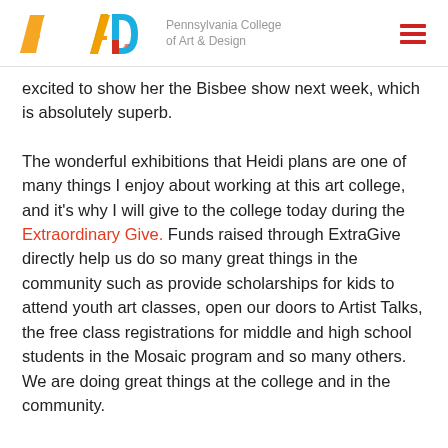Pennsylvania College of Art & Design
excited to show her the Bisbee show next week, which is absolutely superb.
The wonderful exhibitions that Heidi plans are one of many things I enjoy about working at this art college, and it's why I will give to the college today during the Extraordinary Give. Funds raised through ExtraGive directly help us do so many great things in the community such as provide scholarships for kids to attend youth art classes, open our doors to Artist Talks, the free class registrations for middle and high school students in the Mosaic program and so many others. We are doing great things at the college and in the community.